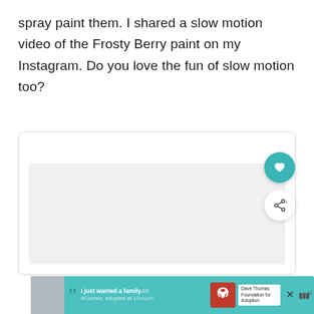spray paint them. I shared a slow motion video of the Frosty Berry paint on my Instagram. Do you love the fun of slow motion too?
[Figure (screenshot): A white card/embed box with a light gray inner content area, representing an embedded video or media player]
[Figure (infographic): Advertisement banner for Dave Thomas Foundation for Adoption featuring a teen boy, quote text 'I just wanted a family. Connor, adopted at 12 much.' and organization logo]